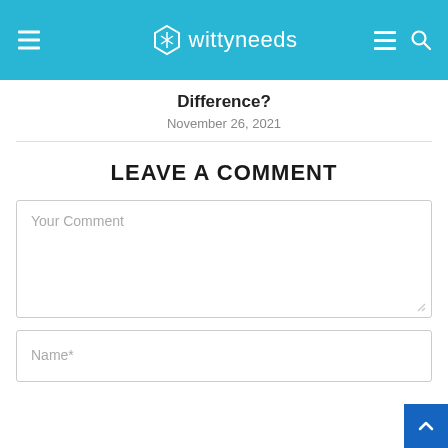wittyneeds
Difference?
November 26, 2021
LEAVE A COMMENT
Your Comment
Name*